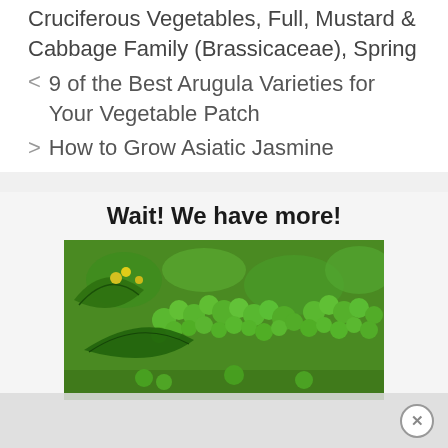Cruciferous Vegetables, Full, Mustard & Cabbage Family (Brassicaceae), Spring
< 9 of the Best Arugula Varieties for Your Vegetable Patch
> How to Grow Asiatic Jasmine
Wait! We have more!
[Figure (photo): Close-up photo of fresh broccoli and brassica vegetables with green florets and leaves]